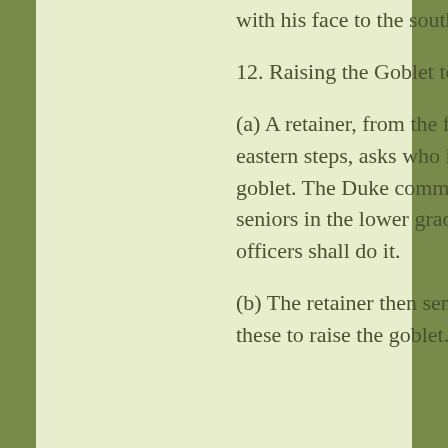with his face to the south-east.
12. Raising the Goblet to the Duke. 9
(a) A retainer, from the foot of the eastern steps, asks who is to raise the goblet. The Duke commands that the seniors in the lower grade of great officers shall do it.
(b) The retainer then sends two of these to raise the goblet.